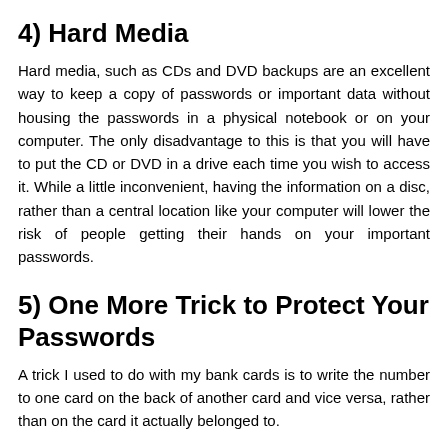4) Hard Media
Hard media, such as CDs and DVD backups are an excellent way to keep a copy of passwords or important data without housing the passwords in a physical notebook or on your computer. The only disadvantage to this is that you will have to put the CD or DVD in a drive each time you wish to access it. While a little inconvenient, having the information on a disc, rather than a central location like your computer will lower the risk of people getting their hands on your important passwords.
5) One More Trick to Protect Your Passwords
A trick I used to do with my bank cards is to write the number to one card on the back of another card and vice versa, rather than on the card it actually belonged to.